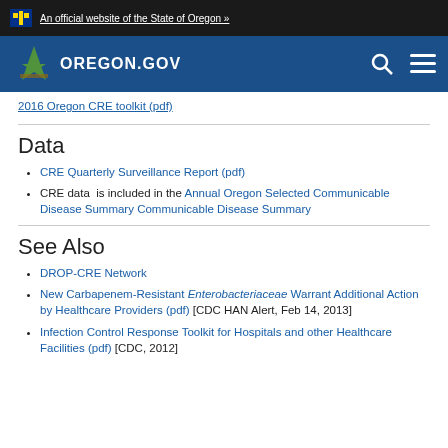An official website of the State of Oregon »
OREGON.GOV
2016 Oregon CRE toolkit (pdf)
Data
CRE Quarterly Surveillance Report (pdf)
CRE data  is included in the Annual Oregon Selected Communicable Disease Summary Communicable Disease Summary
See Also
DROP-CRE Network
New Carbapenem-Resistant Enterobacteriaceae Warrant Additional Action by Healthcare Providers (pdf) [CDC HAN Alert, Feb 14, 2013]
Infection Control Response Toolkit for Hospitals and other Healthcare Facilities (pdf) [CDC, 2012]